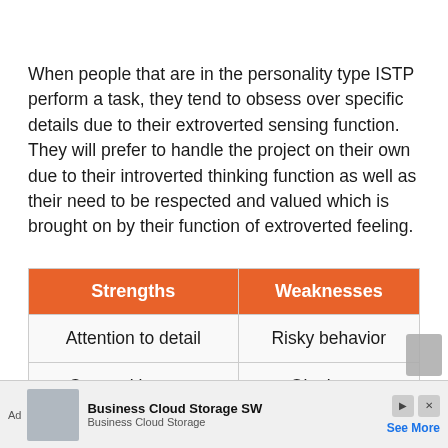When people that are in the personality type ISTP perform a task, they tend to obsess over specific details due to their extroverted sensing function. They will prefer to handle the project on their own due to their introverted thinking function as well as their need to be respected and valued which is brought on by their function of extroverted feeling.
| Strengths | Weaknesses |
| --- | --- |
| Attention to detail | Risky behavior |
| Competitiveness | Obstinacy |
| Creativity | Boredom |